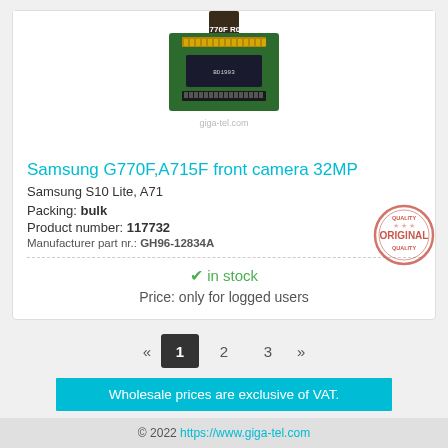[Figure (photo): Samsung G770F R05 front camera module, showing green PCB circuit board with gold connector pins]
Samsung G770F,A715F front camera 32MP
Samsung S10 Lite, A71
Packing: bulk
Product number: 117732
Manufacturer part nr.: GH96-12834A
✔ in stock
Price: only for logged users
« 1 2 3 »
Wholesale prices are exclusive of VAT.
© 2022 https://www.giga-tel.com